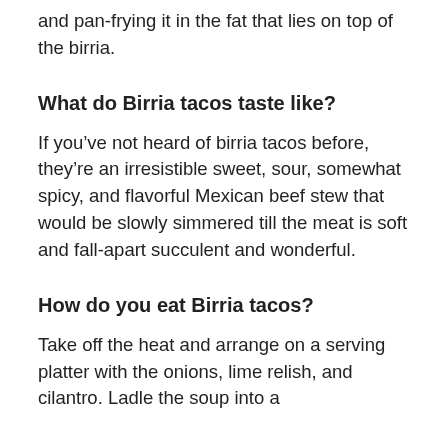and pan-frying it in the fat that lies on top of the birria.
What do Birria tacos taste like?
If you’ve not heard of birria tacos before, they’re an irresistible sweet, sour, somewhat spicy, and flavorful Mexican beef stew that would be slowly simmered till the meat is soft and fall-apart succulent and wonderful.
How do you eat Birria tacos?
Take off the heat and arrange on a serving platter with the onions, lime relish, and cilantro. Ladle the soup into a